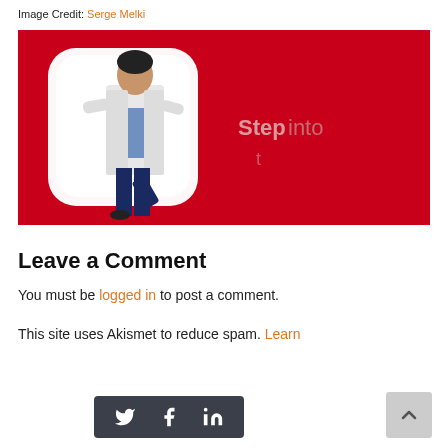Image Credit: Serge Melki
[Figure (photo): A man in a white lab coat stepping through a glowing white rectangular portal/doorway shape on a bright red background, with text 'Step into' visible on the right side of the image.]
Leave a Comment
You must be logged in to post a comment.
This site uses Akismet to reduce spam. Learn